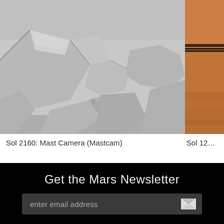[Figure (photo): Mars surface photo showing light grey rocky terrain with layered angular rocks, taken by Mast Camera (Mastcam). Image is partially cropped on the right side.]
Sol 2160: Mast Camera (Mastcam)
[Figure (photo): Partial Mars surface photo showing reddish-orange rocky terrain, partially visible on the right edge of the page. Caption shows Sol 12 (truncated).]
Sol 12…
Get the Mars Newsletter
enter email address